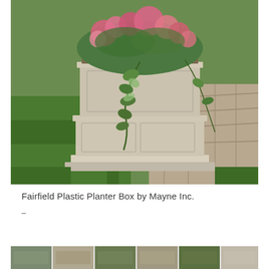[Figure (photo): A large cream/beige colored square Fairfield Plastic Planter Box by Mayne Inc. filled with pink flowers and trailing green ivy vines, sitting on a stone paver patio next to a green lawn.]
Fairfield Plastic Planter Box by Mayne Inc.
–
[Figure (photo): A horizontal strip of multiple small thumbnail images showing various outdoor/garden scenes.]